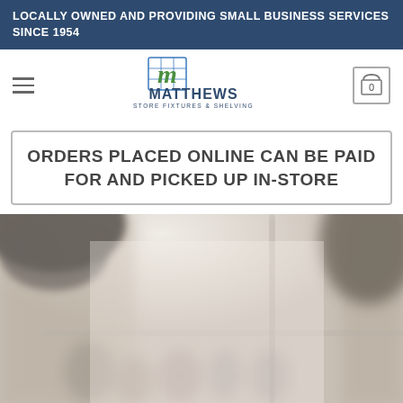LOCALLY OWNED AND PROVIDING SMALL BUSINESS SERVICES SINCE 1954
[Figure (logo): Matthews Store Fixtures & Shelving logo with green grid M icon and dark blue text]
ORDERS PLACED ONLINE CAN BE PAID FOR AND PICKED UP IN-STORE
[Figure (photo): Blurred retail store interior showing clothing racks and hangers, overhead lighting fixtures visible]